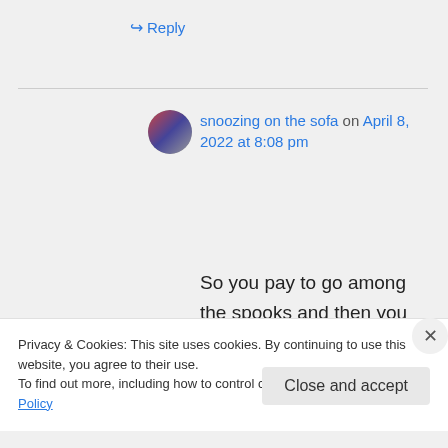↳ Reply
snoozing on the sofa on April 8, 2022 at 8:08 pm
So you pay to go among the spooks and then you pay more to keep the spooks away? Sounds like a great night.
Privacy & Cookies: This site uses cookies. By continuing to use this website, you agree to their use.
To find out more, including how to control cookies, see here: Cookie Policy